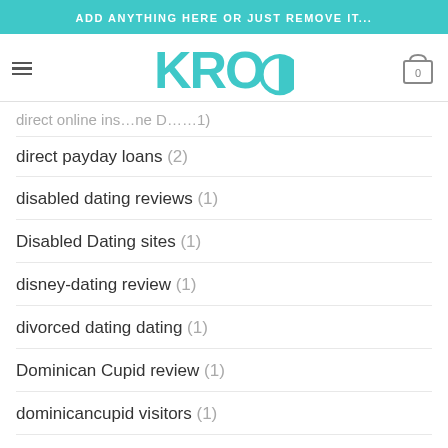ADD ANYTHING HERE OR JUST REMOVE IT...
[Figure (logo): KROQ logo in teal with hamburger menu and cart icon]
direct online installment loans (1)
direct payday loans (2)
disabled dating reviews (1)
Disabled Dating sites (1)
disney-dating review (1)
divorced dating dating (1)
Dominican Cupid review (1)
dominicancupid visitors (1)
downey eros escort (1)
downey escort (1)
downey live escort (1)